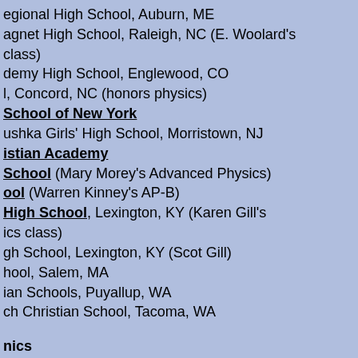egional High School, Auburn, ME
agnet High School, Raleigh, NC (E. Woolard's class)
demy High School, Englewood, CO
l, Concord, NC (honors physics)
School of New York
ushka Girls' High School, Morristown, NJ
istian Academy
School (Mary Morey's Advanced Physics)
ool (Warren Kinney's AP-B)
High School, Lexington, KY (Karen Gill's ics class)
gh School, Lexington, KY (Scot Gill)
hool, Salem, MA
ian Schools, Puyallup, WA
ch Christian School, Tacoma, WA
nics
ties
Texas, El Paso (Prof. Munoz's Phys 2420)
British Columbia (Profs. Michal and Bates'